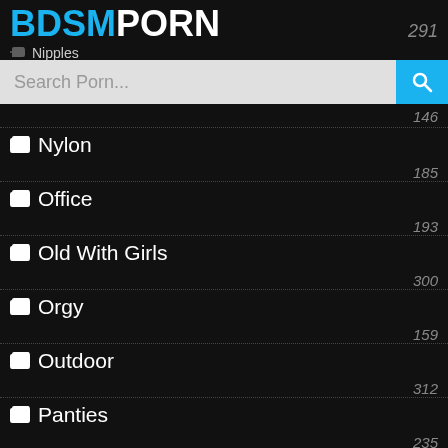BDSMPORN 291
Search Porn...
Nylon 146
Office 185
Old With Girls 193
Orgy 300
Outdoor 159
Panties 312
Pantyhose 235
Party 201
Piercing 140
Pissing 397